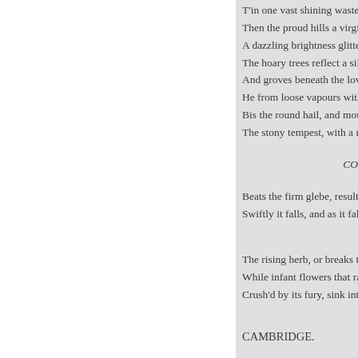T'in one vast shining waste of
Then the proud hills a virgin
A dazzling brightness glitter
The hoary trees reflect a silv
And groves beneath the lov
He from loose vapours with
Bis the round hail, and mou
The stony tempest, with a ru

CO

Beats the firm glebe, resulti
Swiftly it falls, and as it fall


The rising herb, or breaks th
While infant flowers that ra
Crush'd by its fury, sink into
CAMBRIDGE.